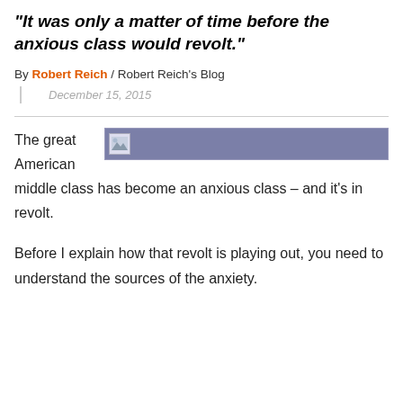"It was only a matter of time before the anxious class would revolt."
By Robert Reich / Robert Reich's Blog
December 15, 2015
The great American middle class has become an anxious class – and it's in revolt.
[Figure (photo): A partially loaded or broken image placeholder with a blue-gray background bar]
Before I explain how that revolt is playing out, you need to understand the sources of the anxiety.